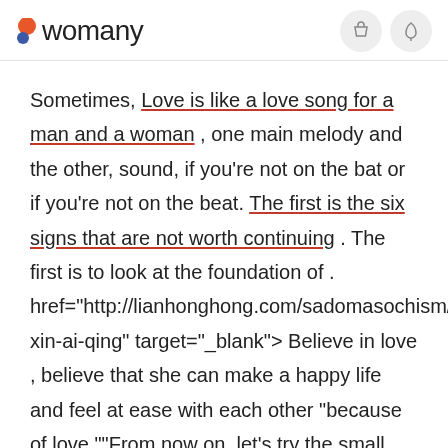womany
Sometimes, Love is like a love song for a man and a woman , one main melody and the other, sound, if you're not on the bat or if you're not on the beat. The first is the six signs that are not worth continuing . The first is to look at the foundation of . href="http://lianhonghong.com/sadomasochism/xiang-xin-ai-qing" target="_blank"> Believe in love , believe that she can make a happy life and feel at ease with each other "because of love.""From now on, let's try the small cloth."